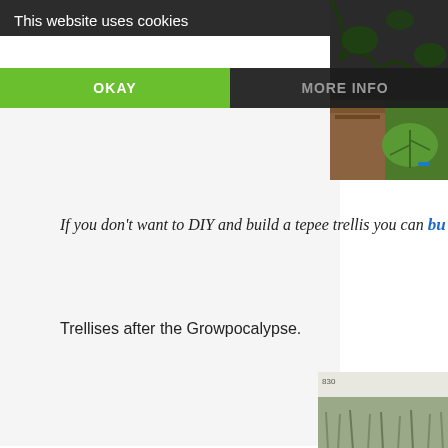This website uses cookies
OKAY
MORE INFO
[Figure (photo): Garden photo showing soil with mulch and large green leaves with blue garden tie]
If you don't want to DIY and build a tepee trellis you can bu
Trellises after the Growpocalypse.
[Figure (photo): Garden landscape photo partially visible]
[Figure (screenshot): Social share bar with Twitter bird icon (blue background) and Facebook f icon (dark blue background) with green section]
Don't let multiple repairs cost you time and money.